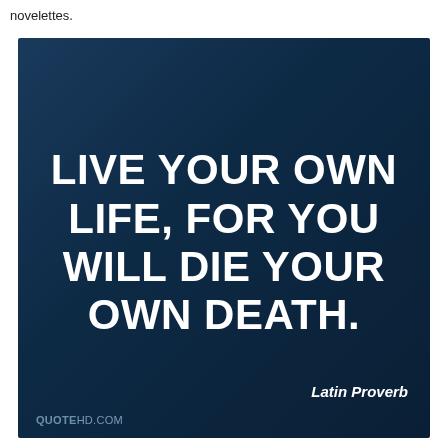novelettes.
[Figure (illustration): Dark blue gradient background quote image with large white bold uppercase text reading 'LIVE YOUR OWN LIFE, FOR YOU WILL DIE YOUR OWN DEATH.' with attribution 'Latin Proverb' at bottom right and 'QUOTEHD.COM' watermark at bottom left.]